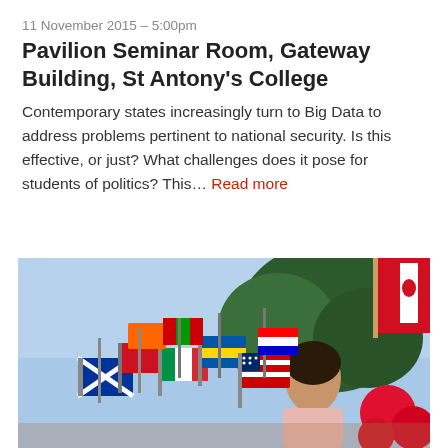11 November 2015 – 5:00pm
Pavilion Seminar Room, Gateway Building, St Antony's College
Contemporary states increasingly turn to Big Data to address problems pertinent to national security. Is this effective, or just? What challenges does it pose for students of politics? This... Read more
[Figure (photo): A woman holding multiple colourful international flags at an outdoor event, with a large Canadian flag visible in the upper right and trees in the background, along with red balloons.]